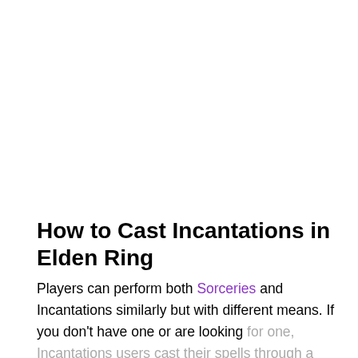How to Cast Incantations in Elden Ring
Players can perform both Sorceries and Incantations similarly but with different means. If you don't have one or are looking for one, Incantations users cast their spells through a Seal. To assign at the Site of Lost Grace, get Incantations from Brother Corhyn if you don't have one.